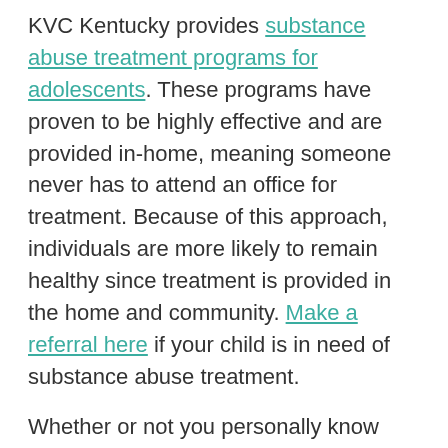KVC Kentucky provides substance abuse treatment programs for adolescents. These programs have proven to be highly effective and are provided in-home, meaning someone never has to attend an office for treatment. Because of this approach, individuals are more likely to remain healthy since treatment is provided in the home and community. Make a referral here if your child is in need of substance abuse treatment.
Whether or not you personally know someone affected by opioid addiction, there's an important way you can help. The need for loving, supportive people willing to provide